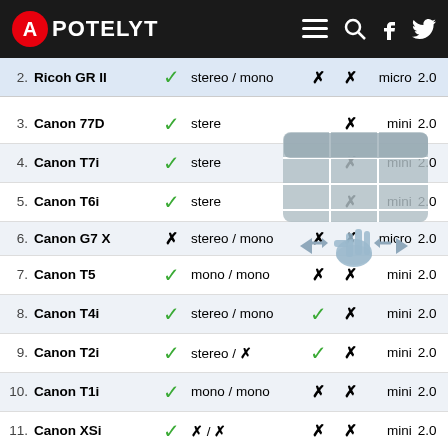APOTELYT
| # | Camera | Mic | Audio | X1 | X2 | Jack | Ver |
| --- | --- | --- | --- | --- | --- | --- | --- |
| 2. | Ricoh GR II | ✓ | stereo / mono | ✗ | ✗ | micro | 2.0 |
| 3. | Canon 77D | ✓ | stere… |  | ✗ | mini | 2.0 |
| 4. | Canon T7i | ✓ | stere… |  | ✗ | mini | 2.0 |
| 5. | Canon T6i | ✓ | stere… |  | ✗ | mini | 2.0 |
| 6. | Canon G7 X | ✗ | stereo / mono | ✗ | ✗ | micro | 2.0 |
| 7. | Canon T5 | ✓ | mono / mono | ✗ | ✗ | mini | 2.0 |
| 8. | Canon T4i | ✓ | stereo / mono | ✓ | ✗ | mini | 2.0 |
| 9. | Canon T2i | ✓ | stereo / ✗ | ✓ | ✗ | mini | 2.0 |
| 10. | Canon T1i | ✓ | mono / mono | ✗ | ✗ | mini | 2.0 |
| 11. | Canon XSi | ✓ | ✗ / ✗ | ✗ | ✗ | mini | 2.0 |
| 12. | Canon XTi | ✓ | ✗ / ✗ | ✗ | ✗ | ✗ | 2.0 |
| 13. | Canon XT | ✓ | ✗ / ✗ | ✗ | ✗ | ✗ | 2.0 |
[Figure (illustration): Swipe/scroll gesture icon overlay showing a table with a hand pointing right, indicating horizontal scroll]